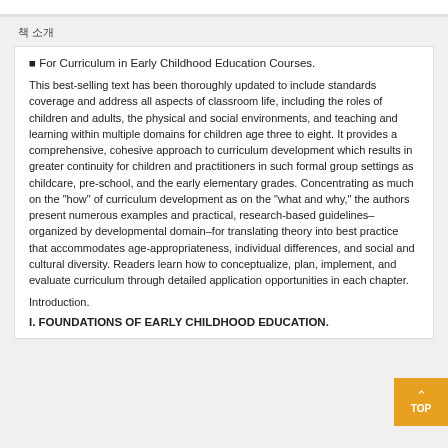책 소개
■ For Curriculum in Early Childhood Education Courses.
This best-selling text has been thoroughly updated to include standards coverage and address all aspects of classroom life, including the roles of children and adults, the physical and social environments, and teaching and learning within multiple domains for children age three to eight. It provides a comprehensive, cohesive approach to curriculum development which results in greater continuity for children and practitioners in such formal group settings as childcare, pre-school, and the early elementary grades. Concentrating as much on the "how" of curriculum development as on the "what and why," the authors present numerous examples and practical, research-based guidelines–organized by developmental domain–for translating theory into best practice that accommodates age-appropriateness, individual differences, and social and cultural diversity. Readers learn how to conceptualize, plan, implement, and evaluate curriculum through detailed application opportunities in each chapter.
Introduction.
I. FOUNDATIONS OF EARLY CHILDHOOD EDUCATION.